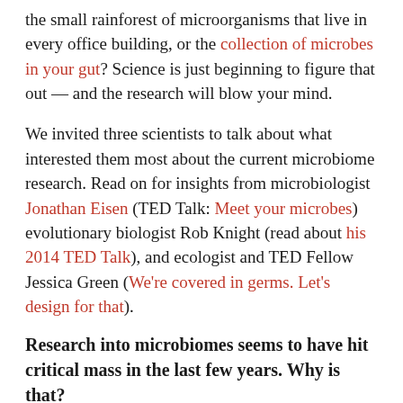the small rainforest of microorganisms that live in every office building, or the collection of microbes in your gut? Science is just beginning to figure that out — and the research will blow your mind.
We invited three scientists to talk about what interested them most about the current microbiome research. Read on for insights from microbiologist Jonathan Eisen (TED Talk: Meet your microbes) evolutionary biologist Rob Knight (read about his 2014 TED Talk), and ecologist and TED Fellow Jessica Green (We're covered in germs. Let's design for that).
Research into microbiomes seems to have hit critical mass in the last few years. Why is that?
[Figure (photo): Portrait photo of Jonathan Eisen, showing a person with green/natural background]
Jonathan Eisen: I think there